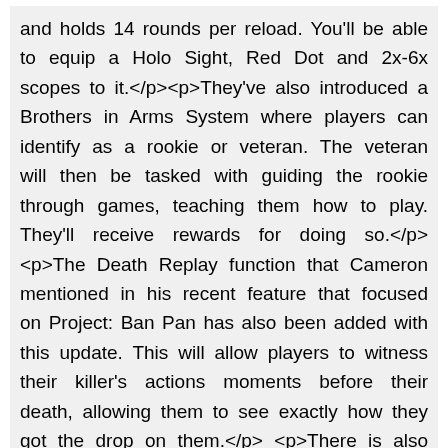and holds 14 rounds per reload. You'll be able to equip a Holo Sight, Red Dot and 2x-6x scopes to it.</p><p>They've also introduced a Brothers in Arms System where players can identify as a rookie or veteran. The veteran will then be tasked with guiding the rookie through games, teaching them how to play. They'll receive rewards for doing so.</p><p>The Death Replay function that Cameron mentioned in his recent feature that focused on Project: Ban Pan has also been added with this update. This will allow players to witness their killer's actions moments before their death, allowing them to see exactly how they got the drop on them.</p><p>There is also quality of life additions such as Univer x